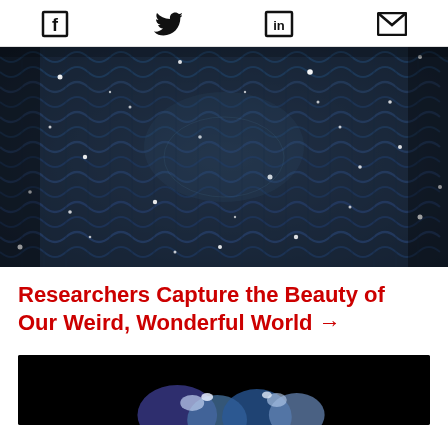Social share icons: Facebook, Twitter, LinkedIn, Email
[Figure (photo): Close-up macro photograph of dark navy blue knitted fabric with sparkling light reflections, resembling a night sky galaxy texture.]
Researchers Capture the Beauty of Our Weird, Wonderful World →
[Figure (photo): Partial image on black background showing what appears to be a colorful scientific or nature photograph, cut off at the bottom of the page.]